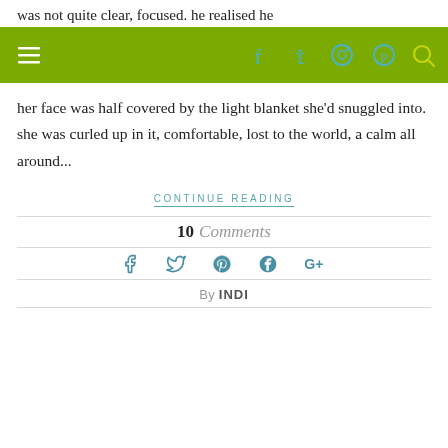was not quite clear, focused. he realised he
[Figure (other): Website navigation bar with olive/green background, hamburger menu icon on left, and social media icons (Facebook, Twitter, Instagram, Pinterest) and search icon on right in teal/white colors]
her face was half covered by the light blanket she'd snuggled into. she was curled up in it, comfortable, lost to the world, a calm all around...
CONTINUE READING
10 Comments
[Figure (other): Social share icons: Facebook, Twitter, Pinterest, Google+]
By INDI